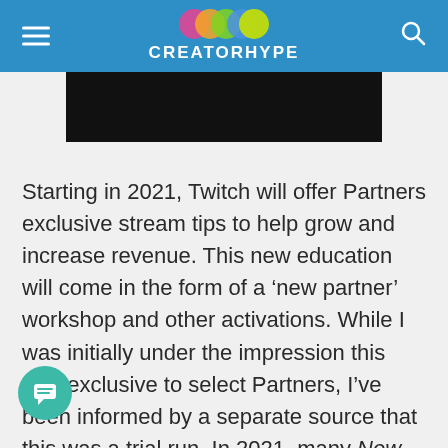CREATORHYPE
[Figure (photo): Black image strip, partially visible at top of content area]
Starting in 2021, Twitch will offer Partners exclusive stream tips to help grow and increase revenue. This new education will come in the form of a ‘new partner’ workshop and other activations. While I was initially under the impression this was exclusive to select Partners, I’ve been informed by a separate source that this was a trial run. In 2021, many New Partners will be offered this workshop. I was sent a document containing the outline of what they covered, and some slides from the presentation. I have